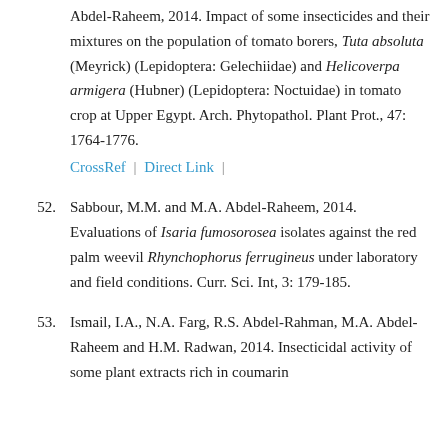Abdel-Raheem, 2014. Impact of some insecticides and their mixtures on the population of tomato borers, Tuta absoluta (Meyrick) (Lepidoptera: Gelechiidae) and Helicoverpa armigera (Hubner) (Lepidoptera: Noctuidae) in tomato crop at Upper Egypt. Arch. Phytopathol. Plant Prot., 47: 1764-1776. CrossRef | Direct Link |
52. Sabbour, M.M. and M.A. Abdel-Raheem, 2014. Evaluations of Isaria fumosorosea isolates against the red palm weevil Rhynchophorus ferrugineus under laboratory and field conditions. Curr. Sci. Int, 3: 179-185.
53. Ismail, I.A., N.A. Farg, R.S. Abdel-Rahman, M.A. Abdel-Raheem and H.M. Radwan, 2014. Insecticidal activity of some plant extracts rich in coumarin